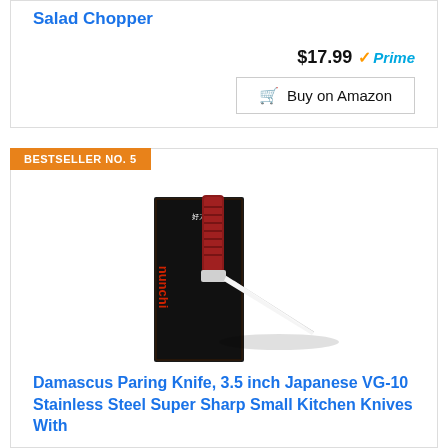Salad Chopper
$17.99 Prime
Buy on Amazon
BESTSELLER NO. 5
[Figure (photo): Nunchi Damascus paring knife with red handle next to black branded box]
Damascus Paring Knife, 3.5 inch Japanese VG-10 Stainless Steel Super Sharp Small Kitchen Knives With